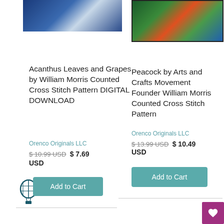[Figure (photo): Cross-stitch embroidery product image of Acanthus Leaves and Grapes pattern — blue, white and gold botanical design]
[Figure (photo): Cross-stitch embroidery product image of Peacock by Arts and Crafts Movement — colorful peacock with foliage on dark background, framed in black]
Acanthus Leaves and Grapes by William Morris Counted Cross Stitch Pattern DIGITAL DOWNLOAD
Peacock by Arts and Crafts Movement Founder William Morris Counted Cross Stitch Pattern
Orenco Originals LLC
Orenco Originals LLC
$ 10.99 USD  $ 7.69 USD
$ 13.99 USD  $ 10.49 USD
Add to Cart
Add to Cart